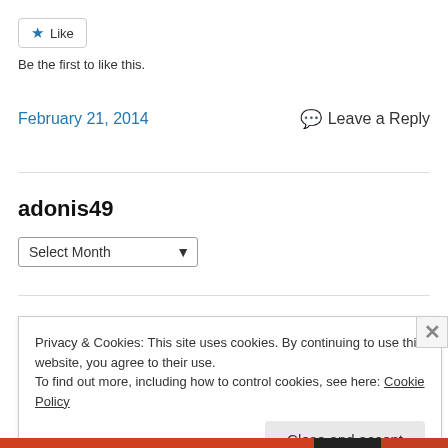[Figure (other): Like button with star icon]
Be the first to like this.
February 21, 2014
Leave a Reply
adonis49
[Figure (other): Select Month dropdown]
Privacy & Cookies: This site uses cookies. By continuing to use this website, you agree to their use. To find out more, including how to control cookies, see here: Cookie Policy
Close and accept